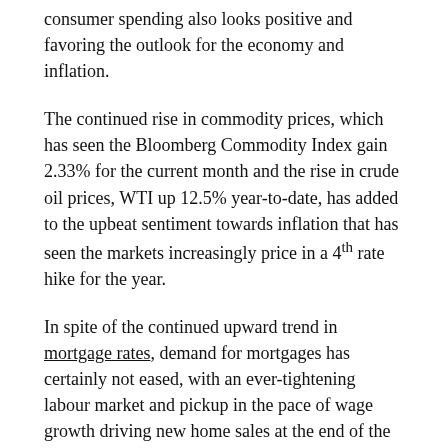consumer spending also looks positive and favoring the outlook for the economy and inflation.
The continued rise in commodity prices, which has seen the Bloomberg Commodity Index gain 2.33% for the current month and the rise in crude oil prices, WTI up 12.5% year-to-date, has added to the upbeat sentiment towards inflation that has seen the markets increasingly price in a 4th rate hike for the year.
In spite of the continued upward trend in mortgage rates, demand for mortgages has certainly not eased, with an ever-tightening labour market and pickup in the pace of wage growth driving new home sales at the end of the 1st quarter, new up sales up 4% in March, off the back of a 3.6% rise in February.
While a shortage of inventory continues to be an